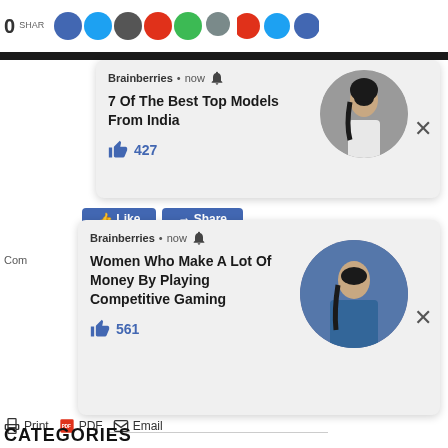[Figure (screenshot): Top navigation bar with share count '0', 'SHAR' label, and row of colored social media icon circles (blue, dark gray, red, green, gray, red, blue, blue)]
[Figure (screenshot): Brainberries notification card 1: 'Brainberries • now [bell icon]', title '7 Of The Best Top Models From India', thumbs up 427, circular photo of woman in white shirt posing, X close button]
[Figure (screenshot): Facebook Like and Share buttons strip]
[Figure (screenshot): Brainberries notification card 2: 'Brainberries • now [bell icon]', title 'Women Who Make A Lot Of Money By Playing Competitive Gaming', thumbs up 561, circular photo of woman in blue shirt, X close button]
Com
Print  PDF  Email
CATEGORIES